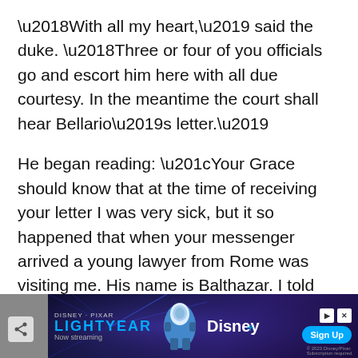'With all my heart,' said the duke. 'Three or four of you officials go and escort him here with all due courtesy. In the meantime the court shall hear Bellario's letter.'
He began reading: “Your Grace should know that at the time of receiving your letter I was very sick, but it so happened that when your messenger arrived a young lawyer from Rome was visiting me. His name is Balthazar. I told him about the dispute between the Jew and the merchant, Antonio. We consulted several books together. He knows my opinion, improved by his own learning – which I cannot praise
[Figure (other): Disney Pixar Lightyear advertisement banner at the bottom of the page showing the movie character, Disney+ logo, Sign Up button, and 'Now streaming' text]